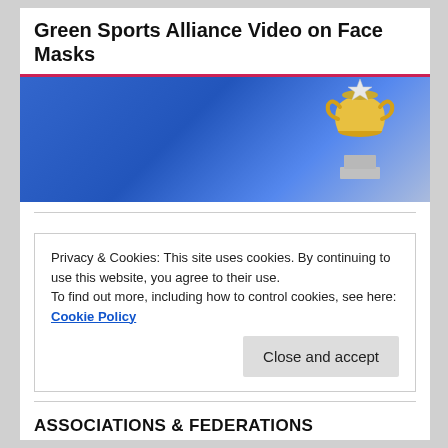Green Sports Alliance Video on Face Masks
[Figure (photo): A trophy or award figurine (metallic, silver and gold) against a blue background, partially cropped at the top of the page.]
Email
Privacy & Cookies: This site uses cookies. By continuing to use this website, you agree to their use.
To find out more, including how to control cookies, see here: Cookie Policy
Close and accept
ASSOCIATIONS & FEDERATIONS